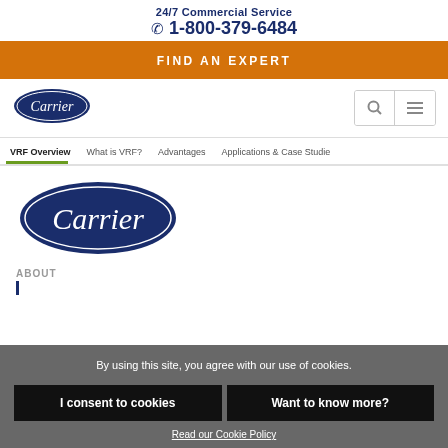24/7 Commercial Service
1-800-379-6484
FIND AN EXPERT
[Figure (logo): Carrier logo - small, white text on dark blue oval, in navigation bar]
VRF Overview   What is VRF?   Advantages   Applications & Case Studie
[Figure (logo): Carrier logo - large, white italic text on dark blue oval background]
ABOUT
By using this site, you agree with our use of cookies.
I consent to cookies
Want to know more?
Read our Cookie Policy